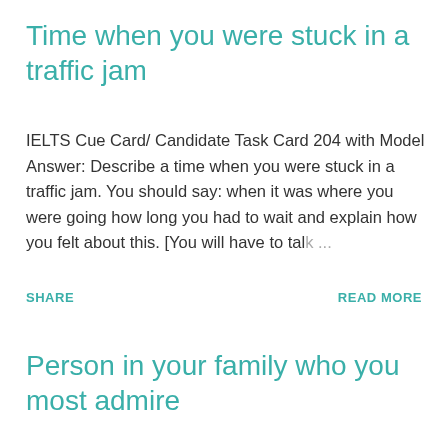Time when you were stuck in a traffic jam
IELTS Cue Card/ Candidate Task Card 204 with Model Answer: Describe a time when you were stuck in a traffic jam. You should say: when it was where you were going how long you had to wait and explain how you felt about this. [You will have to talk ...
SHARE
READ MORE
Person in your family who you most admire